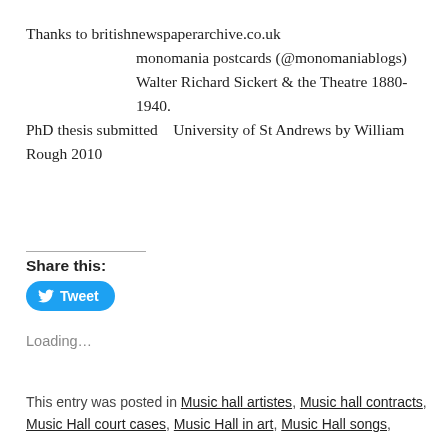Thanks to britishnewspaperarchive.co.uk
    monomania postcards (@monomaniablogs)
    Walter Richard Sickert & the Theatre 1880-1940. PhD thesis submitted   University of St Andrews by William Rough 2010
Share this:
[Figure (other): Tweet button with Twitter bird icon on blue rounded rectangle background]
Loading...
This entry was posted in Music hall artistes, Music hall contracts, Music Hall court cases, Music Hall in art, Music Hall songs,